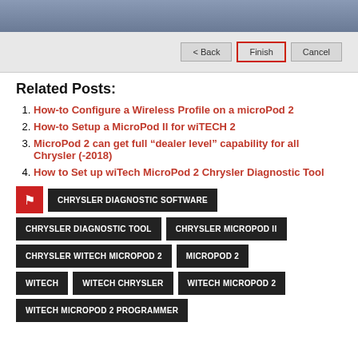[Figure (screenshot): Screenshot of a software installer dialog showing Back, Finish (highlighted with red border), and Cancel buttons]
Related Posts:
How-to Configure a Wireless Profile on a microPod 2
How-to Setup a MicroPod II for wiTECH 2
MicroPod 2 can get full “dealer level” capability for all Chrysler (-2018)
How to Set up wiTech MicroPod 2 Chrysler Diagnostic Tool
CHRYSLER DIAGNOSTIC SOFTWARE | CHRYSLER DIAGNOSTIC TOOL | CHRYSLER MICROPOD II | CHRYSLER WITECH MICROPOD 2 | MICROPOD 2 | WITECH | WITECH CHRYSLER | WITECH MICROPOD 2 | WITECH MICROPOD 2 PROGRAMMER